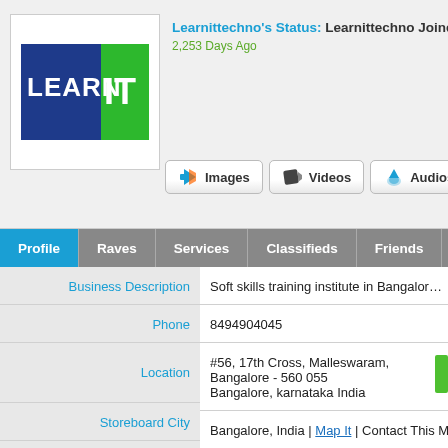[Figure (logo): Learn IT logo with blue background 'LEARN' text and green background 'IT' text]
Learnittechno's Status: Learnittechno Joined St...
2,253 Days Ago
Images | Videos | Audios
Profile | Raves | Services | Classifieds | Friends | L...
Business Description: Soft skills training institute in Bangalore & Co... aptitude with our soft skill courses and earn...
Phone: 8494904045
Location: #56, 17th Cross, Malleswaram,
Bangalore - 560 055
Bangalore, karnataka India
Storeboard City: Bangalore, India | Map It | Contact This Mem...
Business Categories: Tanning
Directory Listing: Learnittechno's Directory Listing
Directory Category